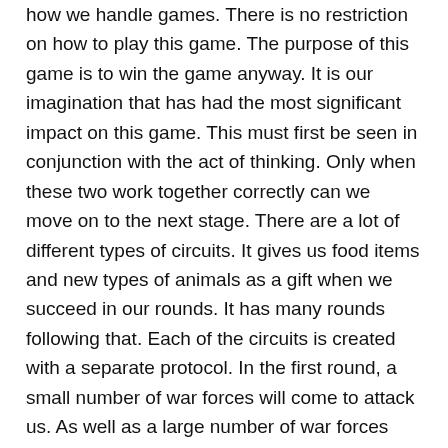how we handle games. There is no restriction on how to play this game. The purpose of this game is to win the game anyway. It is our imagination that has had the most significant impact on this game. This must first be seen in conjunction with the act of thinking. Only when these two work together correctly can we move on to the next stage. There are a lot of different types of circuits. It gives us food items and new types of animals as a gift when we succeed in our rounds. It has many rounds following that. Each of the circuits is created with a separate protocol. In the first round, a small number of war forces will come to attack us. As well as a large number of war forces coming to attack us in the second round.
2）To increase your strength and skills, you need money, which is why in this modified version. You will be getting an unlimited amount of money, which you can use to upgrade the power and unlock a higher level without paying any penny, and all this is to make the gameplay easy for you. Besides, you will also enjoy